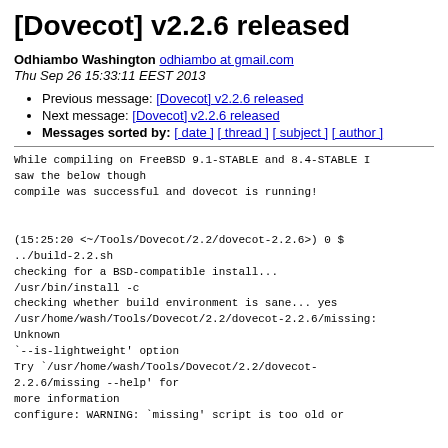[Dovecot] v2.2.6 released
Odhiambo Washington odhiambo at gmail.com
Thu Sep 26 15:33:11 EEST 2013
Previous message: [Dovecot] v2.2.6 released
Next message: [Dovecot] v2.2.6 released
Messages sorted by: [ date ] [ thread ] [ subject ] [ author ]
While compiling on FreeBSD 9.1-STABLE and 8.4-STABLE I saw the below though
compile was successful and dovecot is running!


(15:25:20 <~/Tools/Dovecot/2.2/dovecot-2.2.6>) 0 $
../build-2.2.sh
checking for a BSD-compatible install...
/usr/bin/install -c
checking whether build environment is sane... yes
/usr/home/wash/Tools/Dovecot/2.2/dovecot-2.2.6/missing:
Unknown
`--is-lightweight' option
Try `/usr/home/wash/Tools/Dovecot/2.2/dovecot-
2.2.6/missing --help' for
more information
configure: WARNING: `missing' script is too old or...